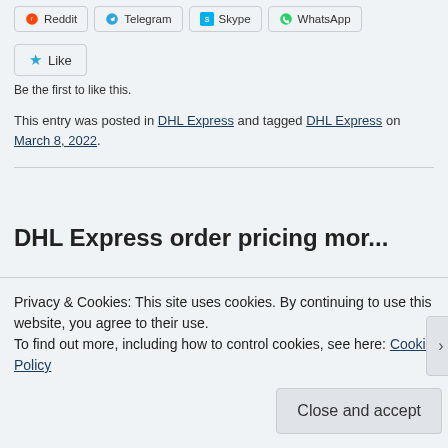Social share buttons: Reddit, Telegram, Skype, WhatsApp
Like button: Like
Be the first to like this.
This entry was posted in DHL Express and tagged DHL Express on March 8, 2022.
DHL Express order pricing more…
Privacy & Cookies: This site uses cookies. By continuing to use this website, you agree to their use.
To find out more, including how to control cookies, see here: Cookie Policy
Close and accept